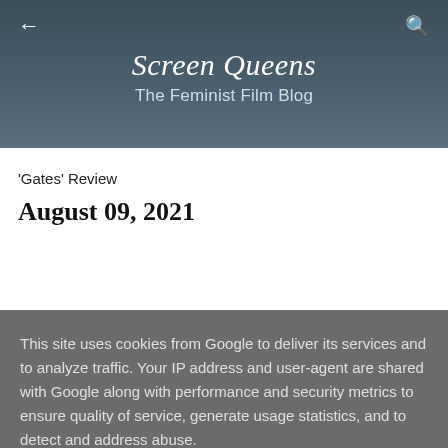Screen Queens
The Feminist Film Blog
'Gates' Review
August 09, 2021
This site uses cookies from Google to deliver its services and to analyze traffic. Your IP address and user-agent are shared with Google along with performance and security metrics to ensure quality of service, generate usage statistics, and to detect and address abuse.
LEARN MORE   OK